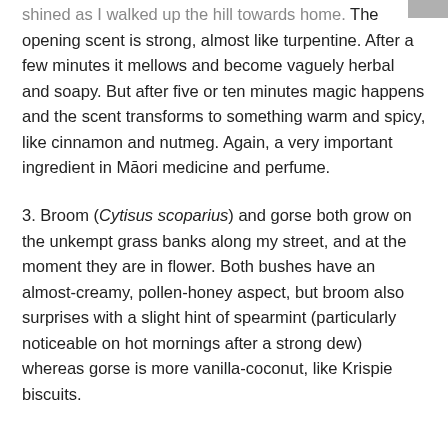shined as I walked up the hill towards home. The opening scent is strong, almost like turpentine. After a few minutes it mellows and become vaguely herbal and soapy. But after five or ten minutes magic happens and the scent transforms to something warm and spicy, like cinnamon and nutmeg. Again, a very important ingredient in Māori medicine and perfume.
3. Broom (Cytisus scoparius) and gorse both grow on the unkempt grass banks along my street, and at the moment they are in flower. Both bushes have an almost-creamy, pollen-honey aspect, but broom also surprises with a slight hint of spearmint (particularly noticeable on hot mornings after a strong dew) whereas gorse is more vanilla-coconut, like Krispie biscuits.